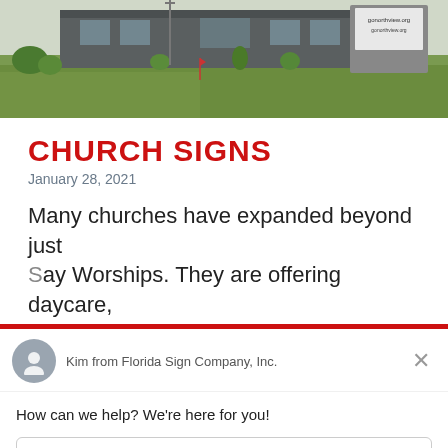[Figure (photo): Photograph of a church building exterior with grass lawn and a gray monument sign in the background showing a website URL]
CHURCH SIGNS
January 28, 2021
Many churches have expanded beyond just Sunday Worships. They are offering daycare,
[Figure (screenshot): Chat widget overlay from Drift showing agent Kim from Florida Sign Company, Inc. with a reply input box and 'Chat by Drift' footer]
Kim from Florida Sign Company, Inc.
How can we help? We're here for you!
Reply to Kim
Chat ⚡ by Drift